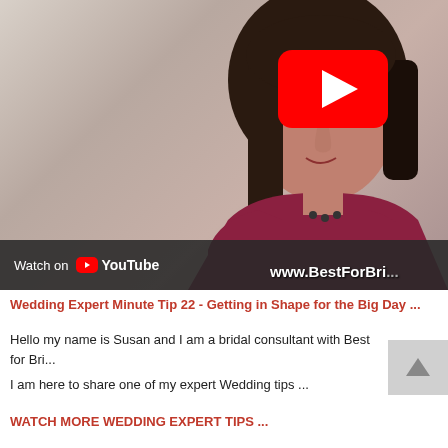[Figure (screenshot): YouTube video thumbnail showing a woman with dark hair wearing a red/maroon top, with a YouTube play button overlay and 'Watch on YouTube | www.BestForBri...' bar at the bottom]
Wedding Expert Minute Tip 22 - Getting in Shape for the Big Day
Hello my name is Susan and I am a bridal consultant with Best for Bri...
I am here to share one of my expert Wedding tips ...
WATCH MORE WEDDING EXPERT TIPS ...